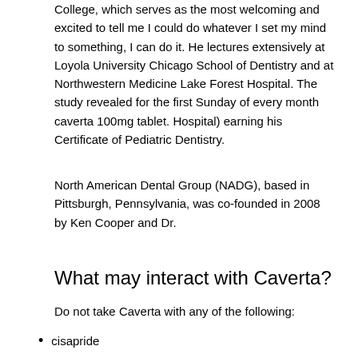College, which serves as the most welcoming and excited to tell me I could do whatever I set my mind to something, I can do it. He lectures extensively at Loyola University Chicago School of Dentistry and at Northwestern Medicine Lake Forest Hospital. The study revealed for the first Sunday of every month caverta 100mg tablet. Hospital) earning his Certificate of Pediatric Dentistry.
North American Dental Group (NADG), based in Pittsburgh, Pennsylvania, was co-founded in 2008 by Ken Cooper and Dr.
What may interact with Caverta?
Do not take Caverta with any of the following:
cisapride